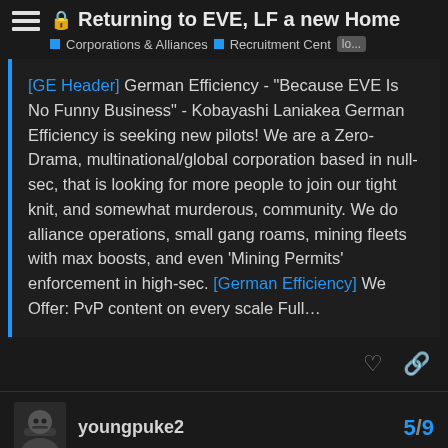Returning to EVE, LF a new Home
Corporations & Alliances  Recruitment Center  lo...
[GE Header] German Efficiency - "Because EVE Is No Funny Business" - Kobayashi Laniakea German Efficiency is seeking new pilots! We are a Zero-Drama, multinational/global corporation based in null-sec, that is looking for more people to join our tight knit, and somewhat murderous, community. We do alliance operations, small gang roams, mining fleets with max boosts, and even 'Mining Permits' enforcement in high-sec. [German Efficiency] We Offer: PvP content on every scale Full...
youngpuke2  5/9